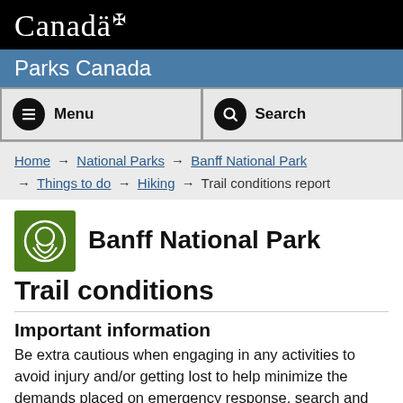Canada
Parks Canada
Menu | Search
Home → National Parks → Banff National Park → Things to do → Hiking → Trail conditions report
Banff National Park
Trail conditions
Important information
Be extra cautious when engaging in any activities to avoid injury and/or getting lost to help minimize the demands placed on emergency response, search and rescue teams